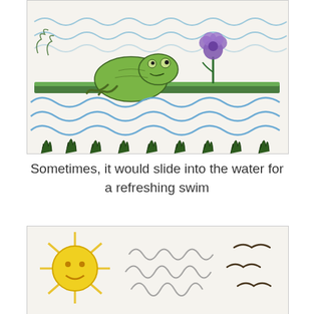[Figure (illustration): Child's crayon drawing showing a frog sitting on a green lily pad or grassy bank in water. Blue wavy lines represent water waves above and below. A purple flower with green stem grows from the bank. Dark green grass/plants along the bottom. A small creature visible at top.]
Sometimes, it would slide into the water for a refreshing swim
[Figure (illustration): Child's crayon drawing showing a yellow sun with rays on the left side, curly gray scribble lines in the middle representing water or movement, and dark bird shapes on the right side.]